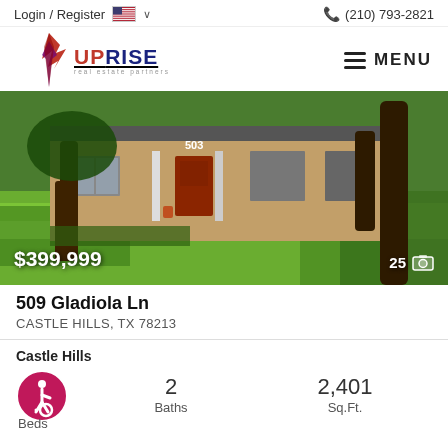Login / Register  (210) 793-2821
[Figure (logo): Uprise Real Estate Partners logo with stylized red and purple flame icon]
[Figure (photo): Exterior photo of a brick ranch-style house at 509 Gladiola Ln with a large green lawn and trees in the foreground. Price overlay: $399,999. Photo count: 25.]
509 Gladiola Ln
CASTLE HILLS, TX 78213
Castle Hills
Beds  2 Baths  2,401 Sq.Ft.